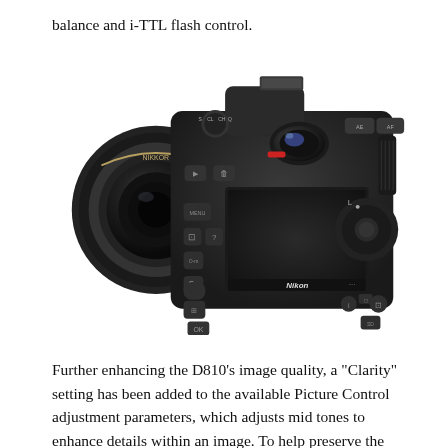balance and i-TTL flash control.
[Figure (photo): Rear view of a Nikon D810 DSLR camera showing the LCD screen, viewfinder, control buttons, and attached lens, displayed against a white background.]
Further enhancing the D810’s image quality, a “Clarity” setting has been added to the available Picture Control adjustment parameters, which adjusts mid tones to enhance details within an image. To help preserve the most amount of detail in